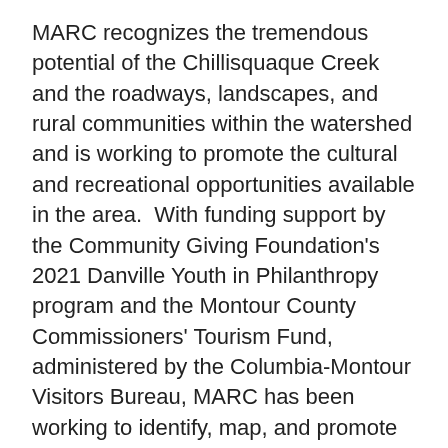MARC recognizes the tremendous potential of the Chillisquaque Creek and the roadways, landscapes, and rural communities within the watershed and is working to promote the cultural and recreational opportunities available in the area.  With funding support by the Community Giving Foundation's 2021 Danville Youth in Philanthropy program and the Montour County Commissioners' Tourism Fund, administered by the Columbia-Montour Visitors Bureau, MARC has been working to identify, map, and promote the many resources within the watershed.
MARC is pleased to release the new Chillisquaque Creek Watershed map and web page, intended to familiarize residents and visitors alike with the many natural and cultural points of interest throughout the watershed and to better allow all